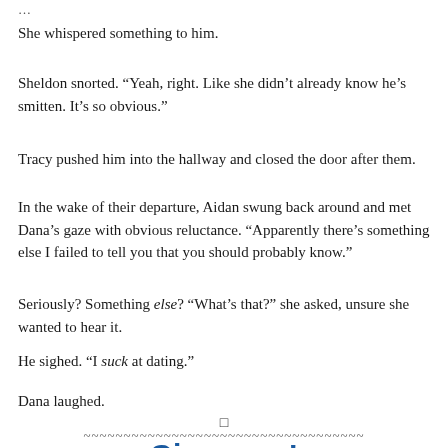She whispered something to him.
Sheldon snorted. “Yeah, right. Like she didn’t already know he’s smitten. It’s so obvious.”
Tracy pushed him into the hallway and closed the door after them.
In the wake of their departure, Aidan swung back around and met Dana’s gaze with obvious reluctance. “Apparently there’s something else I failed to tell you that you should probably know.”
Seriously? Something else? “What’s that?” she asked, unsure she wanted to hear it.
He sighed. “I suck at dating.”
Dana laughed.
□
~~~~~~~~~~~~~~~~~~~~~~~~~~~~~~~~~~~
Giveaway!